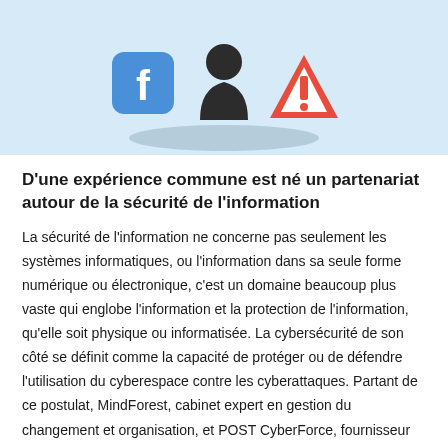[Figure (illustration): Illustration on light blue background showing cybersecurity icons: a Facebook-style icon, a black figure/person icon, and a red warning triangle with exclamation mark, with a dark oval shadow beneath them.]
D'une expérience commune est né un partenariat autour de la sécurité de l'information
La sécurité de l'information ne concerne pas seulement les systèmes informatiques, ou l'information dans sa seule forme numérique ou électronique, c'est un domaine beaucoup plus vaste qui englobe l'information et la protection de l'information, qu'elle soit physique ou informatisée. La cybersécurité de son côté se définit comme la capacité de protéger ou de défendre l'utilisation du cyberespace contre les cyberattaques. Partant de ce postulat, MindForest, cabinet expert en gestion du changement et organisation, et POST CyberForce, fournisseur de services Telecom